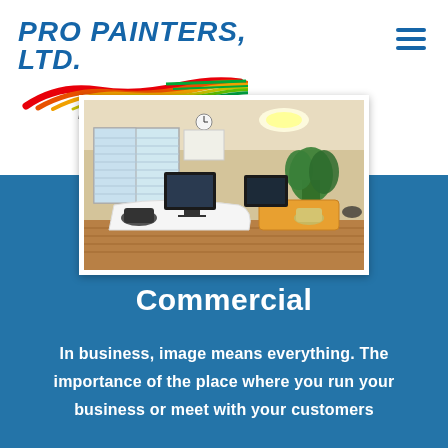[Figure (logo): Pro Painters, Ltd. logo with rainbow swoosh and tagline 'More than just painters']
[Figure (photo): Office interior with white desks, computer monitors, chairs, windows with blinds, and green plants]
Commercial
In business, image means everything. The importance of the place where you run your business or meet with your customers